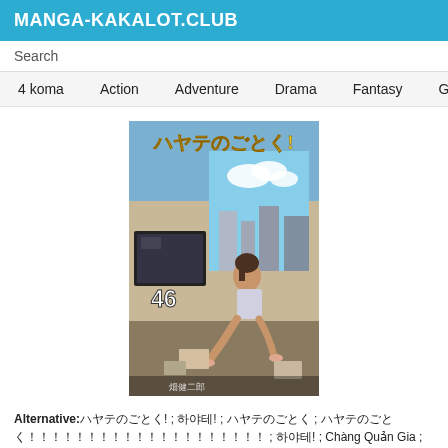MANGA-KAKALOT.CLUB
Search
4 koma
Action
Adventure
Drama
Fantasy
Gender
[Figure (illustration): Manga volume cover for Hayate no Gotoku volume 46, showing a girl sitting by a window with city view in background]
Alternative:ハヤテのごとく! ; 하야테! ; ハヤテのごとく ; ハヤテのごとく！！！！！！！！！！！！！！！！！！！！ ; 하야테! ; Chàng Quản Gia ; Hayate le Majordome ; Hayate no Gotoku ; Hayate the Combat Butler ; Hayate, Mayordomo de Combate ; هاياتي الخادم المقاتل ; Chàng